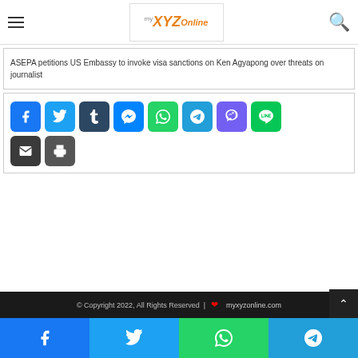myxyz Online — site header with hamburger menu and search icon
ASEPA petitions US Embassy to invoke visa sanctions on Ken Agyapong over threats on journalist
[Figure (infographic): Social share buttons: Facebook, Twitter, Tumblr, Messenger, WhatsApp, Telegram, Viber, Line, Email, Print]
© Copyright 2022, All Rights Reserved | ❤ myxyzonline.com
[Figure (infographic): Bottom social sharing bar with Facebook, Twitter, WhatsApp, Telegram icons]